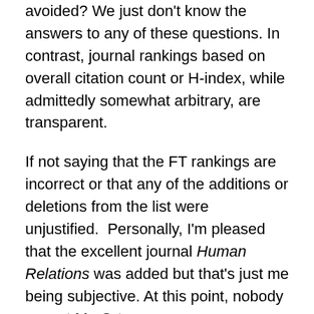avoided? We just don't know the answers to any of these questions. In contrast, journal rankings based on overall citation count or H-index, while admittedly somewhat arbitrary, are transparent.
If not saying that the FT rankings are incorrect or that any of the additions or deletions from the list were unjustified.  Personally, I'm pleased that the excellent journal Human Relations was added but that's just me being subjective. At this point, nobody except Mr. Ortmans can express an informed opinion about this subject! The hilarious lack of transparency about methodology means that one won't be able to accept his list as legitimate until the details of the process are published.  Until we see a detailed explanation of the methodology and  weighting, we should probably stop referring to the list as the FT50 and instead call it the Ortmans50 after the obscure individual who